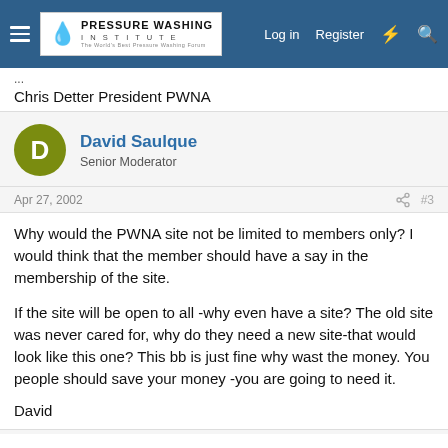Pressure Washing Institute — Log in  Register
Chris Detter President PWNA
David Saulque
Senior Moderator
Apr 27, 2002  #3
Why would the PWNA site not be limited to members only? I would think that the member should have a say in the membership of the site.

If the site will be open to all -why even have a site? The old site was never cared for, why do they need a new site-that would look like this one? This bb is just fine why wast the money. You people should save your money -you are going to need it.

David